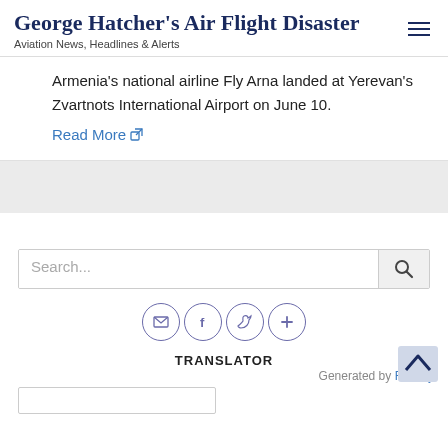George Hatcher's Air Flight Disaster
Aviation News, Headlines & Alerts
Armenia's national airline Fly Arna landed at Yerevan's Zvartnots International Airport on June 10.
Read More
[Figure (screenshot): Search bar with search icon button]
[Figure (infographic): Social share buttons: email, facebook, twitter, plus/more]
TRANSLATOR
Generated by Feedzy